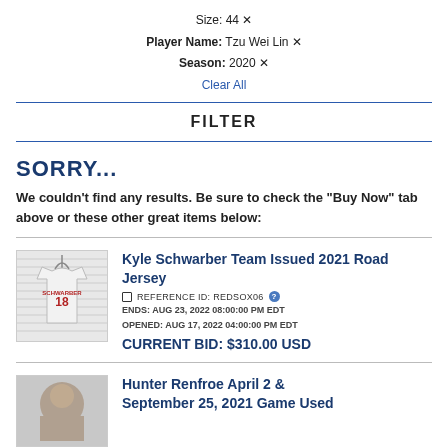Size: 44 ✕
Player Name: Tzu Wei Lin ✕
Season: 2020 ✕
Clear All
FILTER
SORRY...
We couldn't find any results. Be sure to check the "Buy Now" tab above or these other great items below:
[Figure (photo): Photo of Kyle Schwarber #18 gray road jersey hanging on a slatwall display]
Kyle Schwarber Team Issued 2021 Road Jersey
REFERENCE ID: REDSOX06
ENDS: AUG 23, 2022 08:00:00 PM EDT
OPENED: AUG 17, 2022 04:00:00 PM EDT
CURRENT BID: $310.00 USD
[Figure (photo): Partial photo of Hunter Renfroe game used item]
Hunter Renfroe April 2 & September 25, 2021 Game Used...